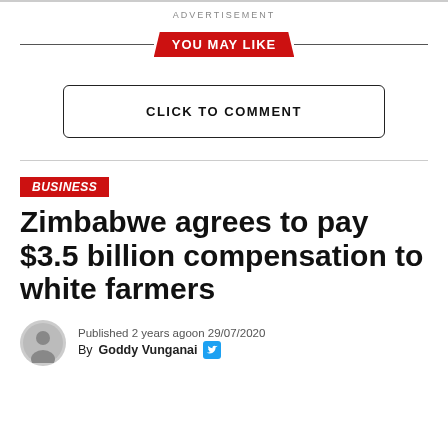ADVERTISEMENT
YOU MAY LIKE
CLICK TO COMMENT
BUSINESS
Zimbabwe agrees to pay $3.5 billion compensation to white farmers
Published 2 years agoon 29/07/2020
By Goddy Vunganai